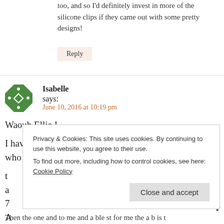too, and so I'd definitely invest in more of the silicone clips if they came out with some pretty designs!
Reply
Isabelle says:
June 10, 2016 at 10:19 pm
Waouh Ellie !
I have three very favorite : I saw a grany with glasses who (I
Privacy & Cookies: This site uses cookies. By continuing to use this website, you agree to their use.
To find out more, including how to control cookies, see here: Cookie Policy
Close and accept
Then the one and to me and a ble st for me the a b is t